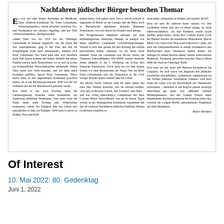Nachfahren jüdischer Bürger besuchen Themar
Es war nur eine kleine Änderung im Briefkopf: Dem »Diplom-Kaufmann Dr. Ernst Ledermann, Wirtschaftsprüfer« wurde plötzlich zwischen Vor- und Nachnamen ein »Israel« zugefügt, und der Titel »Wirtschaftsprüfer« durchgestrichen. »Mein Vater war bis 1933 bei der Thüringer Landesbank in Weimar angestellt. Als die Nazis ihn dort rausschmissen, ging er mit Frau und mir als zweijährigem Sohn nach Amsterdam«, erinnert sich Peter Ledermann...
Of Interest
10. Mai 2022: 80. Gedenktag
Juni 1, 2022